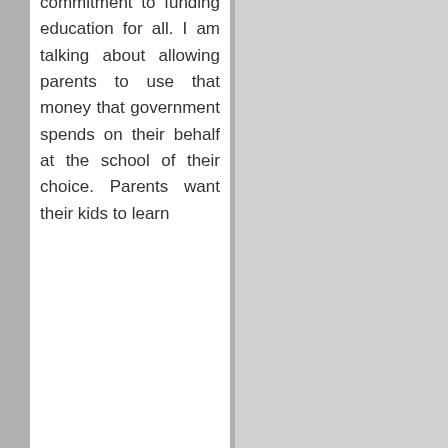commitment to funding education for all. I am talking about allowing parents to use that money that government spends on their behalf at the school of their choice. Parents want their kids to learn